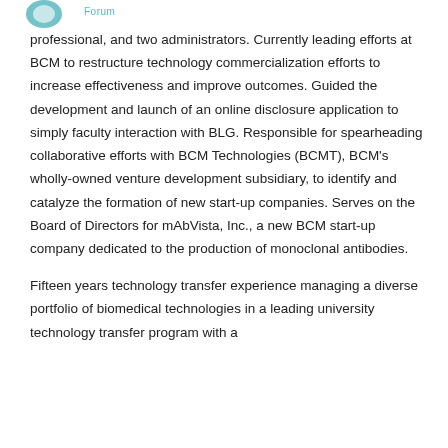Forum
professional, and two administrators. Currently leading efforts at BCM to restructure technology commercialization efforts to increase effectiveness and improve outcomes. Guided the development and launch of an online disclosure application to simply faculty interaction with BLG. Responsible for spearheading collaborative efforts with BCM Technologies (BCMT), BCM's wholly-owned venture development subsidiary, to identify and catalyze the formation of new start-up companies. Serves on the Board of Directors for mAbVista, Inc., a new BCM start-up company dedicated to the production of monoclonal antibodies.
Fifteen years technology transfer experience managing a diverse portfolio of biomedical technologies in a leading university technology transfer program with a